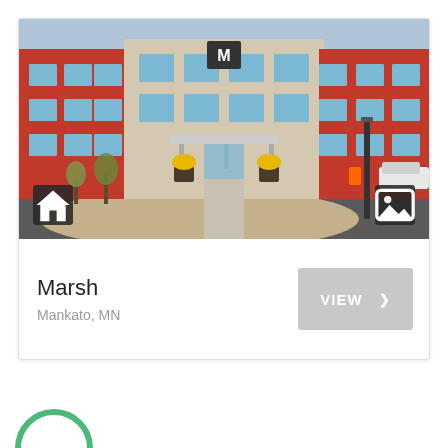[Figure (photo): Exterior photo of a modern multi-story apartment building with red and beige facade, glass entrance, landscaped courtyard with pathway, yellow flower planters, street lamp, and parked car. Two icon buttons overlaid: home icon (bottom-left) and gallery icon (bottom-right).]
Marsh
Mankato, MN
VIEW >